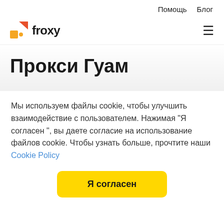Помощь  Блог
[Figure (logo): Froxy logo: orange/red square and triangle icon with the word 'froxy' in bold black]
Прокси Гуам
Мы используем файлы cookie, чтобы улучшить взаимодействие с пользователем. Нажимая "Я согласен ", вы даете согласие на использование файлов cookie. Чтобы узнать больше, прочтите наши Cookie Policy
Я согласен